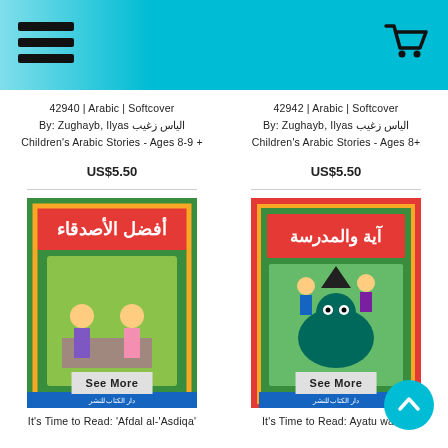[Figure (screenshot): Website header with teal/cyan background, hamburger menu icon on left, shopping cart icon on right]
42940 | Arabic | Softcover
By: Zughayb, Ilyas الياس زغيب
Children's Arabic Stories - Ages 8-9 +
42942 | Arabic | Softcover
By: Zughayb, Ilyas الياس زغيب
Children's Arabic Stories - Ages 8+
US$5.50
US$5.50
[Figure (photo): Book cover: It's Time to Read: 'Afdal al-'Asdiqa' - green cover with Arabic title and illustration of two children]
[Figure (photo): Book cover: It's Time to Read: Ayatu wa-al-Madrasa - red cover with Arabic title and illustration of children with witch/characters]
It's Time to Read: 'Afdal al-'Asdiqa'
It's Time to Read: Ayatu wa-al-